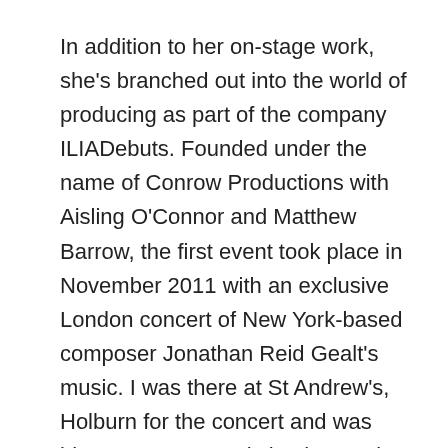In addition to her on-stage work, she's branched out into the world of producing as part of the company ILIADebuts. Founded under the name of Conrow Productions with Aisling O'Connor and Matthew Barrow, the first event took place in November 2011 with an exclusive London concert of New York-based composer Jonathan Reid Gealt's music. I was there at St Andrew's, Holburn for the concert and was blown away, not only by the music, but the performers. Along with the man himself, some of the very best of the West End came along to sing, including Emily Tierney, John Addison, Jodie Jacobs, Katie Hall, Matthew Barrow, Stuart Matthew Price, Danielle Hope, Caissie Levy, Jonathan Williams and Kelly-Anne Gower. She also took to the mike to perform.